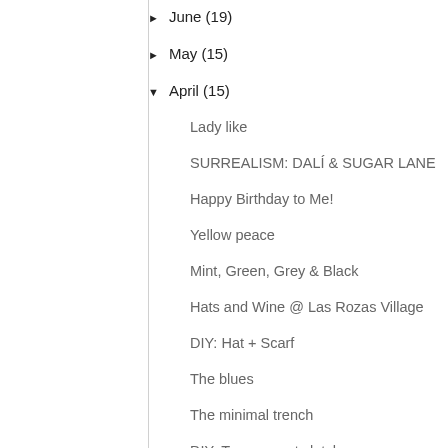► June (19)
► May (15)
▼ April (15)
Lady like
SURREALISM: DALÍ & SUGAR LANE
Happy Birthday to Me!
Yellow peace
Mint, Green, Grey & Black
Hats and Wine @ Las Rozas Village
DIY: Hat + Scarf
The blues
The minimal trench
DIY: Transparent clutch